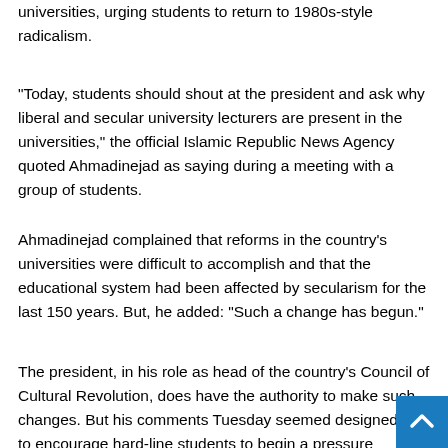universities, urging students to return to 1980s-style radicalism.
"Today, students should shout at the president and ask why liberal and secular university lecturers are present in the universities," the official Islamic Republic News Agency quoted Ahmadinejad as saying during a meeting with a group of students.
Ahmadinejad complained that reforms in the country's universities were difficult to accomplish and that the educational system had been affected by secularism for the last 150 years. But, he added: "Such a change has begun."
The president, in his role as head of the country's Council of Cultural Revolution, does have the authority to make such changes. But his comments Tuesday seemed designed mo to encourage hard-line students to begin a pressure campaign